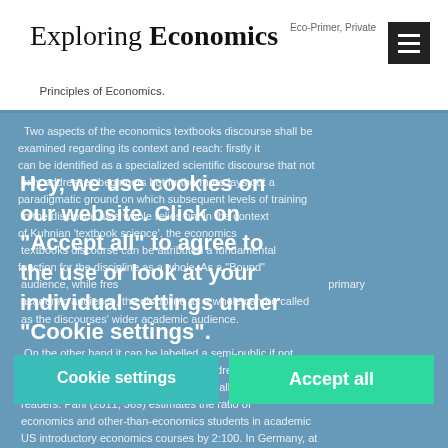Exploring Economics
Eco-Primer, Private and Public Finance, Krugman/Wells ... Principles of Economics.
Two aspects of the economics textbooks discourse shall be highlighted regarding its context and reach: firstly it can be identified as a specialized scientific discourse that not only addresses beginners but furthermore lays out a paradigmatic ground on which subsequent levels of training in the discipline as a whole relies on. In the context of Kuhnian 'textbook science', the economics textbooks discourse can be attributed a fundamental function for the discipline as a whole. As a 'Bound' audience, while freshers are the discourses' primary audience, the discipline as a whole can be called as the discourses' wider academic audience.

On the other hand it can be labelled a semi-public if not public discourse insofar as it not only addresses future or present economists, but a wide range of all kinds of readers. Pahl (2011, 369) estimates the ratio of economics and other-than-economics students in academic US introductory economics courses by 2:100. In Germany, at
Hey, we use cookies on our website. Click on "Accept all" to agree to the use or look at your individual settings under "Cookie settings".
Cookie settings
Accept all